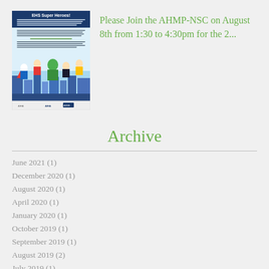[Figure (illustration): EHS Super Heroes event poster with cartoon superhero characters and event details text]
Please Join the AHMP-NSC on August 8th from 1:30 to 4:30pm for the 2...
Archive
June 2021 (1)
December 2020 (1)
August 2020 (1)
April 2020 (1)
January 2020 (1)
October 2019 (1)
September 2019 (1)
August 2019 (2)
July 2019 (1)
May 2019 (2)